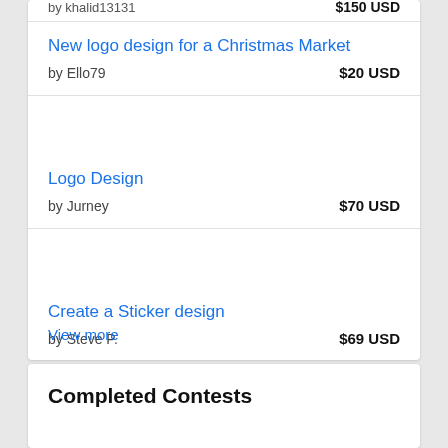by khalid... 	$150 USD
New logo design for a Christmas Market
by Ello79	$20 USD
Logo Design
by Jurney	$70 USD
Create a Sticker design
by Steve P.	$69 USD
View more
Completed Contests